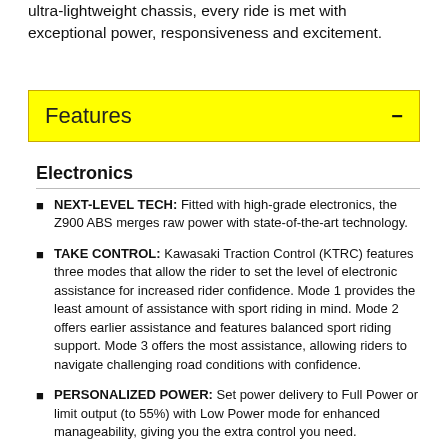ultra-lightweight chassis, every ride is met with exceptional power, responsiveness and excitement.
Features
Electronics
NEXT-LEVEL TECH: Fitted with high-grade electronics, the Z900 ABS merges raw power with state-of-the-art technology.
TAKE CONTROL: Kawasaki Traction Control (KTRC) features three modes that allow the rider to set the level of electronic assistance for increased rider confidence. Mode 1 provides the least amount of assistance with sport riding in mind. Mode 2 offers earlier assistance and features balanced sport riding support. Mode 3 offers the most assistance, allowing riders to navigate challenging road conditions with confidence.
PERSONALIZED POWER: Set power delivery to Full Power or limit output (to 55%) with Low Power mode for enhanced manageability, giving you the extra control you need.